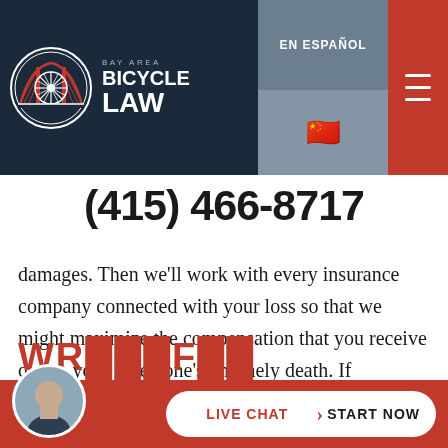[Figure (logo): Bay Area Bicycle Law logo with circular bicycle wheel bridge emblem and text 'BAY AREA BICYCLE LAW']
EN ESPAÑOL
(415) 466-8717
damages. Then we'll work with every insurance company connected with your loss so that we might maximize the compensation that you receive due to your loved one's untimely death. If necessary, we'll try your wrongful death case to verdict in front of a judge and 12 jurors.
WRONGFUL DEATH...